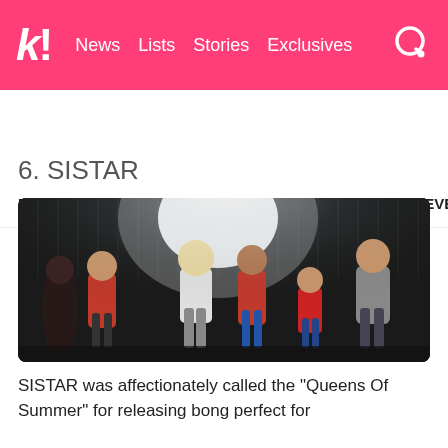k! | News   Lists   Stories   Exclusives
BTS   BLACKPINK   TWICE   IVE   aespa   NCT   SEVE
6. SISTAR
[Figure (photo): SISTAR group performing on stage in colorful outfits with bright stage lighting behind them]
SISTAR was affectionately called the "Queens Of Summer" for releasing bong perfect for